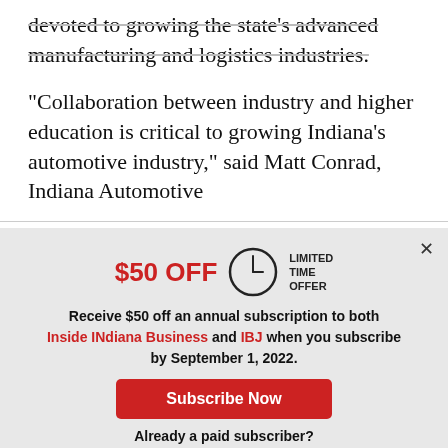devoted to growing the state's advanced manufacturing and logistics industries.
“Collaboration between industry and higher education is critical to growing Indiana's automotive industry,” said Matt Conrad, Indiana Automotive
[Figure (other): Subscription modal overlay with $50 OFF limited time offer, clock icon, subscription call-to-action text mentioning Inside INdiana Business and IBJ, Subscribe Now button, Already a paid subscriber? text, and Log In button.]